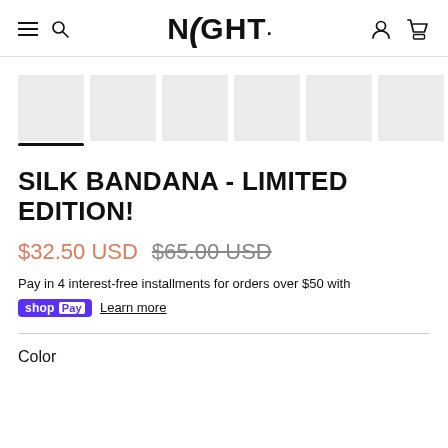NIGHT — e-commerce product page header with navigation icons (hamburger, search, account, cart) and NIGHT logo
[Figure (screenshot): Row of 7 product thumbnail image placeholders (light gray rectangles), first one has a black underline indicator showing it is selected]
SILK BANDANA - LIMITED EDITION!
$32.50 USD  $65.00 USD (strikethrough)
Pay in 4 interest-free installments for orders over $50 with shop Pay  Learn more
Color